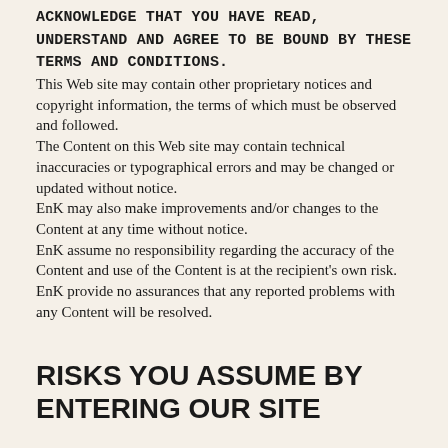ACKNOWLEDGE THAT YOU HAVE READ, UNDERSTAND AND AGREE TO BE BOUND BY THESE TERMS AND CONDITIONS. This Web site may contain other proprietary notices and copyright information, the terms of which must be observed and followed. The Content on this Web site may contain technical inaccuracies or typographical errors and may be changed or updated without notice. EnK may also make improvements and/or changes to the Content at any time without notice. EnK assume no responsibility regarding the accuracy of the Content and use of the Content is at the recipient's own risk. EnK provide no assurances that any reported problems with any Content will be resolved.
RISKS YOU ASSUME BY ENTERING OUR SITE
By entering the site, you will be deemed to have released and discharged EnK, from all liability